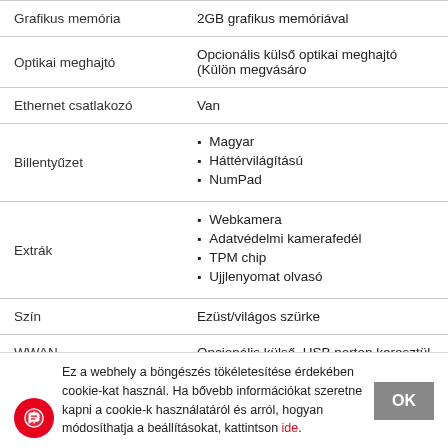| Tulajdonság | Érték |
| --- | --- |
| Grafikus memória | 2GB grafikus memóriával |
| Optikai meghajtó | Opcionális külső optikai meghajtó (Külön megvásáro |
| Ethernet csatlakozó | Van |
| Billentyűzet | Magyar
Háttérvilágítású
NumPad |
| Extrák | Webkamera
Adatvédelmi kamerafedél
TPM chip
Ujjlenyomat olvasó |
| Szín | Ezüst/világos szürke |
| WWAN | Opcionális külső, USB porton keresztül |
Ez a webhely a böngészés tökéletesítése érdekében cookie-kat használ. Ha bővebb információkat szeretne kapni a cookie-k használatáról és arról, hogyan módosíthatja a beállításokat, kattintson ide.